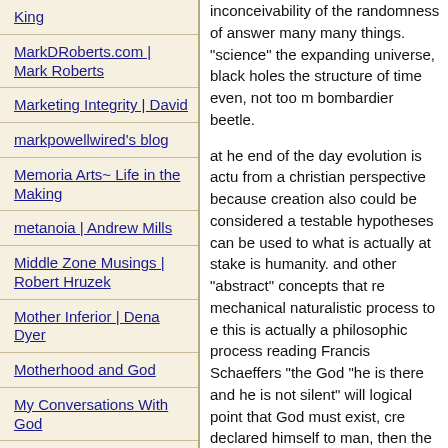King
MarkDRoberts.com | Mark Roberts
Marketing Integrity | David
markpowellwired's blog
Memoria Arts~ Life in the Making
metanoia | Andrew Mills
Middle Zone Musings | Robert Hruzek
Mother Inferior | Dena Dyer
Motherhood and God
My Conversations With God
My Heart at Home
My Thoughts | J Mullins
inconceivability of the randomness of answer many many things. "science" the expanding universe, black holes the structure of time even, not too m bombardier beetle.
at he end of the day evolution is actu from a christian perspective because creation also could be considered a testable hypotheses can be used to what is actually at stake is humanity. and other "abstract" concepts that re mechanical naturalistic process to e this is actually a philosophic process reading Francis Schaeffers "the God "he is there and he is not silent" will logical point that God must exist, cre declared himself to man, then the pr literal 6 day Creation as explained in science will eventually prove it. in fa and death and resurrection is actual love to chat more - suggest you rea in some serious flaws in evolutionary "junk" DNA.
» 704 weeks ago
Post a new comment